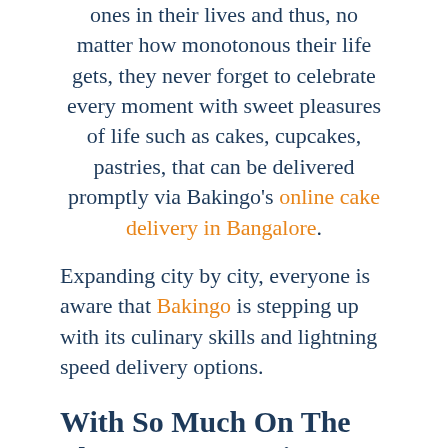ones in their lives and thus, no matter how monotonous their life gets, they never forget to celebrate every moment with sweet pleasures of life such as cakes, cupcakes, pastries, that can be delivered promptly via Bakingo's online cake delivery in Bangalore.
Expanding city by city, everyone is aware that Bakingo is stepping up with its culinary skills and lightning speed delivery options.
With So Much On The Plate, Here Are Five Ways How Bakingo Has